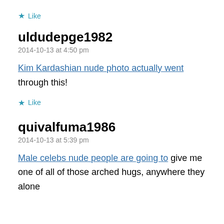★ Like
uldudepge1982
2014-10-13 at 4:50 pm
Kim Kardashian nude photo actually went through this!
★ Like
quivalfuma1986
2014-10-13 at 5:39 pm
Male celebs nude people are going to give me one of all of those arched hugs, anywhere they alone